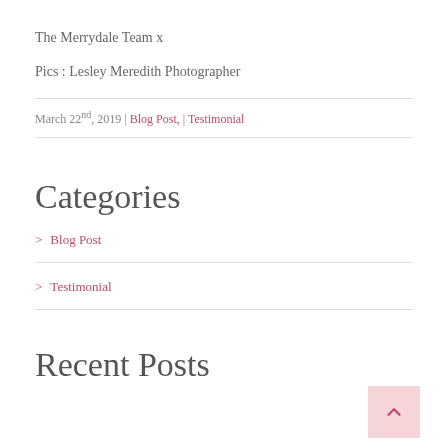The Merrydale Team x
Pics : Lesley Meredith Photographer
March 22nd, 2019 | Blog Post, | Testimonial
Categories
Blog Post
Testimonial
Recent Posts